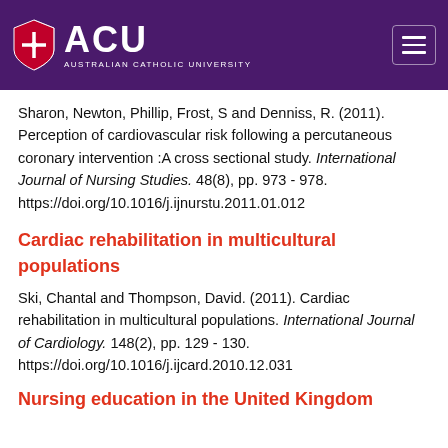[Figure (logo): Australian Catholic University (ACU) logo with shield and text on purple header bar]
Sharon, Newton, Phillip, Frost, S and Denniss, R. (2011). Perception of cardiovascular risk following a percutaneous coronary intervention :A cross sectional study. International Journal of Nursing Studies. 48(8), pp. 973 - 978. https://doi.org/10.1016/j.ijnurstu.2011.01.012
Cardiac rehabilitation in multicultural populations
Ski, Chantal and Thompson, David. (2011). Cardiac rehabilitation in multicultural populations. International Journal of Cardiology. 148(2), pp. 129 - 130. https://doi.org/10.1016/j.ijcard.2010.12.031
Nursing education in the United Kingdom